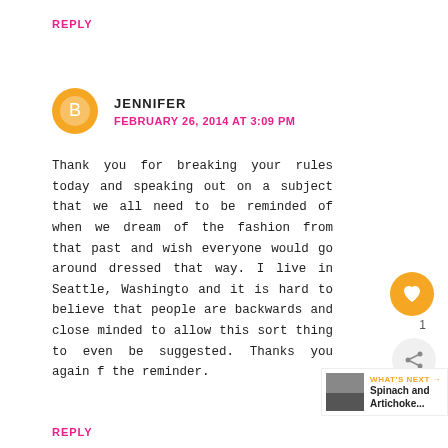REPLY
JENNIFER
FEBRUARY 26, 2014 AT 3:09 PM
Thank you for breaking your rules today and speaking out on a subject that we all need to be reminded of when we dream of the fashion from that past and wish everyone would go around dressed that way. I live in Seattle, Washington and it is hard to believe that people are so backwards and close minded to allow this sort of thing to even be suggested. Thanks you again for the reminder.
REPLY